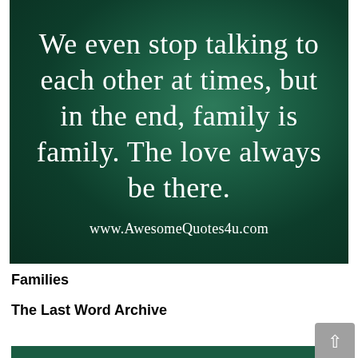[Figure (illustration): Dark green background image with white serif text quote: 'We even stop talking to each other at times, but in the end, family is family. The love always be there.' with website URL www.AwesomeQuotes4u.com at the bottom]
Families
The Last Word Archive